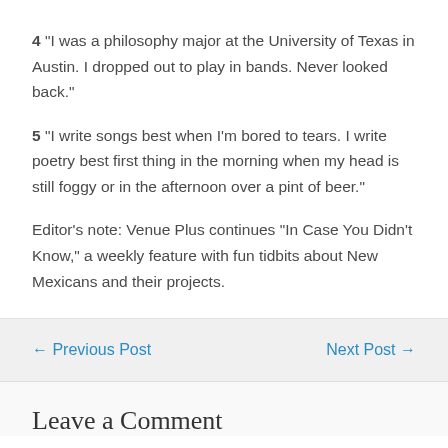4 “I was a philosophy major at the University of Texas in Austin. I dropped out to play in bands. Never looked back.”
5 “I write songs best when I’m bored to tears. I write poetry best first thing in the morning when my head is still foggy or in the afternoon over a pint of beer.”
Editor’s note: Venue Plus continues “In Case You Didn’t Know,” a weekly feature with fun tidbits about New Mexicans and their projects.
← Previous Post
Next Post →
Leave a Comment